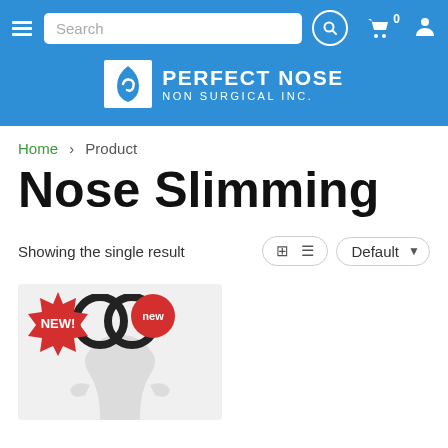Perfect Nose Non Surgical Inc. - website header with navigation
Home > Product
Nose Slimming
Showing the single result
[Figure (screenshot): Product card showing nose slimming rings with NEW! starburst badge and 'new' circular badge]